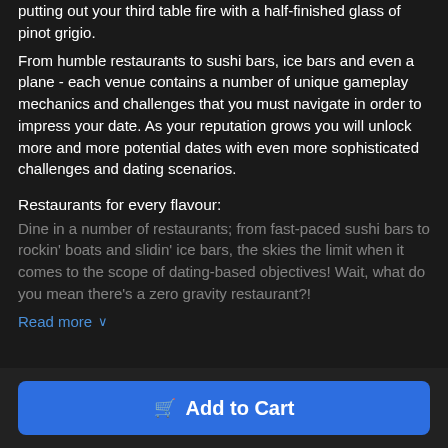putting out your third table fire with a half-finished glass of pinot grigio.
From humble restaurants to sushi bars, ice bars and even a plane - each venue contains a number of unique gameplay mechanics and challenges that you must navigate in order to impress your date. As your reputation grows you will unlock more and more potential dates with even more sophisticated challenges and dating scenarios.
Restaurants for every flavour:
Dine in a number of restaurants; from fast-paced sushi bars to rockin' boats and slidin' ice bars, the skies the limit when it comes to the scope of dating-based objectives! Wait, what do you mean there's a zero gravity restaurant?!
Read more ∨
Add to Cart